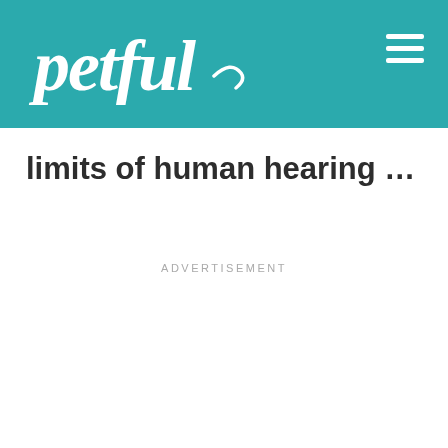petful
limits of human hearing …
ADVERTISEMENT